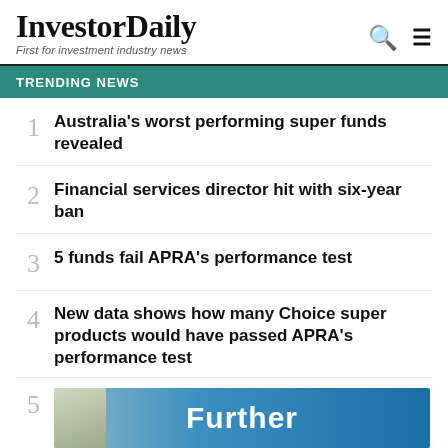InvestorDaily — First for investment industry news
TRENDING NEWS
1 Australia's worst performing super funds revealed
2 Financial services director hit with six-year ban
3 5 funds fail APRA's performance test
4 New data shows how many Choice super products would have passed APRA's performance test
5 Further reforms
[Figure (photo): Advertisement banner image with text 'Further' in bold white letters on a blue gradient background with a nature photo on the left side]